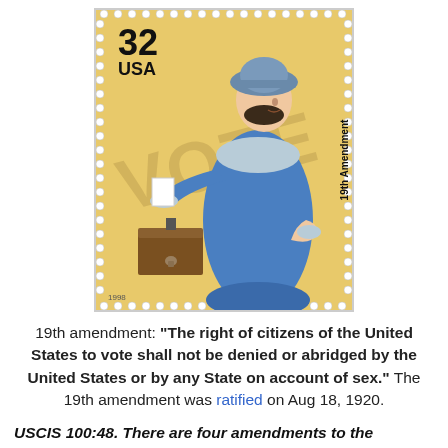[Figure (illustration): US postage stamp, 32 cents, USA, showing a woman in a blue fur-trimmed coat and cloche hat depositing a ballot into a ballot box. The word VOTE appears as a watermark background. '19th Amendment' is printed vertically on the right side. Year 1998 appears at bottom left.]
19th amendment: "The right of citizens of the United States to vote shall not be denied or abridged by the United States or by any State on account of sex." The 19th amendment was ratified on Aug 18, 1920.
USCIS 100:48. There are four amendments to the Constitution about who can vote. Describe one of them.